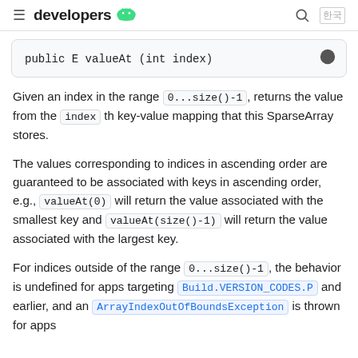≡ developers 🤖  🔍  한국
public E valueAt (int index)
Given an index in the range 0...size()-1, returns the value from the index th key-value mapping that this SparseArray stores.
The values corresponding to indices in ascending order are guaranteed to be associated with keys in ascending order, e.g., valueOf(0) will return the value associated with the smallest key and valueAt(size()-1) will return the value associated with the largest key.
For indices outside of the range 0...size()-1, the behavior is undefined for apps targeting Build.VERSION_CODES.P and earlier, and an ArrayIndexOutOfBoundsException is thrown for apps